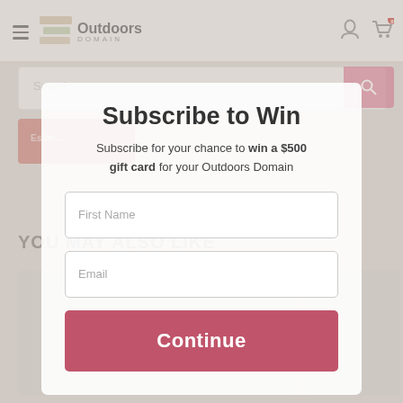[Figure (screenshot): Outdoors Domain e-commerce website background showing navigation bar with hamburger menu, logo, user icon, cart with 0 items, search bar, estimate button, 'YOU MAY ALSO LIKE' section header, and product images at bottom]
Subscribe to Win
Subscribe for your chance to win a $500 gift card for your Outdoors Domain
First Name
Email
Continue